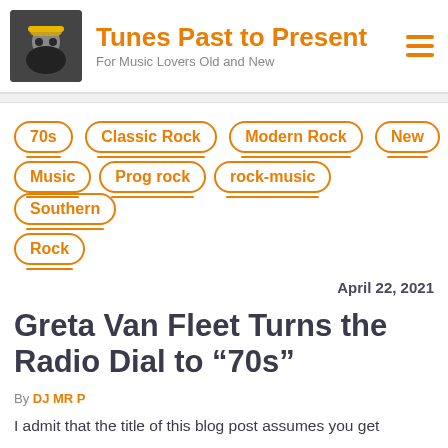Tunes Past to Present — For Music Lovers Old and New
70s
Classic Rock
Modern Rock
New Music
Prog rock
rock-music
Southern Rock
April 22, 2021
Greta Van Fleet Turns the Radio Dial to “70s”
By DJ MR P
I admit that the title of this blog post assumes you get